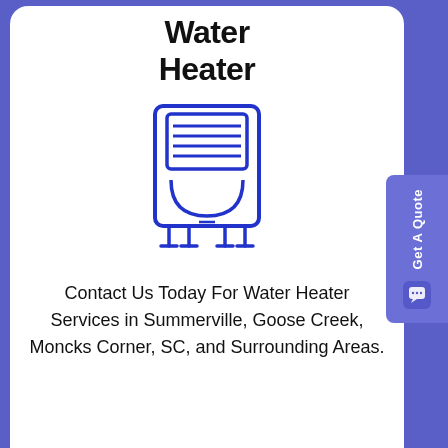Water Heater
[Figure (illustration): Blue line-art icon of a water heater unit with horizontal lines in the upper panel, a rounded bottom tank, and feet at the base]
Contact Us Today For Water Heater Services in Summerville, Goose Creek, Moncks Corner, SC, and Surrounding Areas.